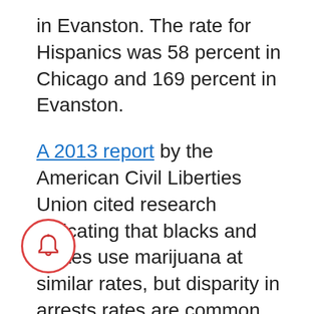in Evanston. The rate for Hispanics was 58 percent in Chicago and 169 percent in Evanston.
A 2013 report by the American Civil Liberties Union cited research indicating that blacks and whites use marijuana at similar rates, but disparity in arrests rates are common across the country.
Evanston Police Chief Richard Eddington has said that cannabis arrests tend to take place where people congregate on the street and where police receive complaints from neighbors about drug dealing, and that both of those things tend to happen most often in low-income neighborhoods.